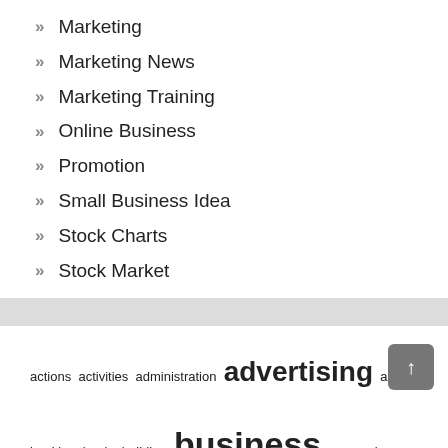Marketing
Marketing News
Marketing Training
Online Business
Promotion
Small Business Idea
Stock Charts
Stock Market
actions activities administration advertising advis banking begin building business companies